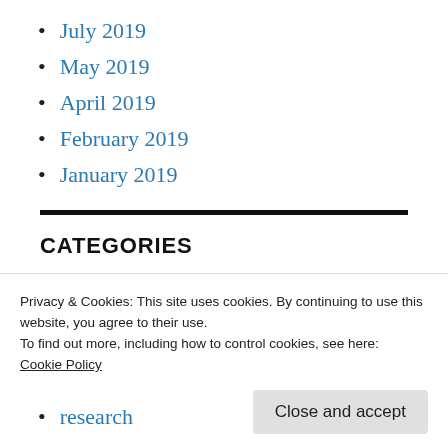July 2019
May 2019
April 2019
February 2019
January 2019
CATEGORIES
creative writing
Privacy & Cookies: This site uses cookies. By continuing to use this website, you agree to their use.
To find out more, including how to control cookies, see here:
Cookie Policy
research